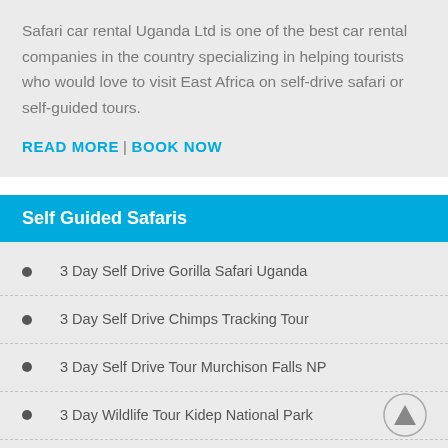Safari car rental Uganda Ltd is one of the best car rental companies in the country specializing in helping tourists who would love to visit East Africa on self-drive safari or self-guided tours.
READ MORE | BOOK NOW
Self Guided Safaris
3 Day Self Drive Gorilla Safari Uganda
3 Day Self Drive Chimps Tracking Tour
3 Day Self Drive Tour Murchison Falls NP
3 Day Wildlife Tour Kidep National Park
4 Day Self Guided Wildlife Safari